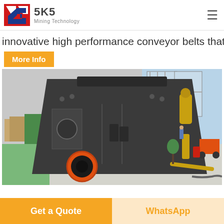SKS Mining Technology
innovative high performance conveyor belts that
More Info
[Figure (photo): Large industrial impact crusher machine photographed in a factory/warehouse setting. The machine is dark grey/black with orange circular opening at the bottom and yellow hydraulic components. Factory floor is visible with green and grey sections, windows in background, and a forklift and workers visible.]
Get a Quote
WhatsApp